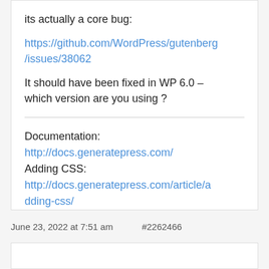its actually a core bug:
https://github.com/WordPress/gutenberg/issues/38062
It should have been fixed in WP 6.0 – which version are you using ?
Documentation: http://docs.generatepress.com/
Adding CSS: http://docs.generatepress.com/article/adding-css/
June 23, 2022 at 7:51 am    #2262466